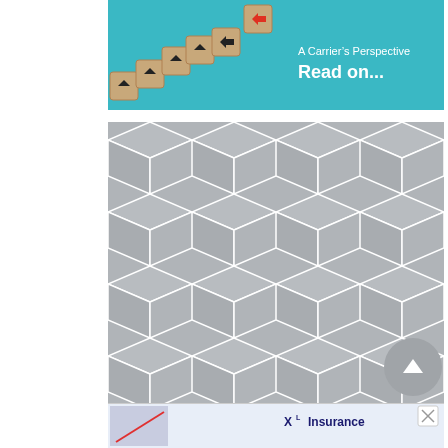[Figure (photo): Banner image with teal background showing wooden blocks with black arrows arranged in an arc, with one red arrow block pointing right. Text overlay reads 'A Carrier's Perspective' and 'Read on...']
[Figure (illustration): Gray diamond/cube geometric repeating pattern on a square area]
[Figure (other): Advertisement banner for XL Insurance with a close button (x) and diagonal red line graphic on left]